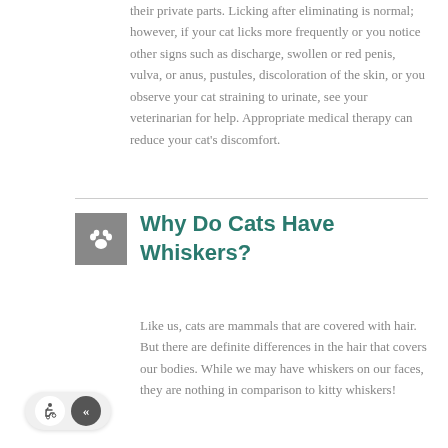their private parts. Licking after eliminating is normal; however, if your cat licks more frequently or you notice other signs such as discharge, swollen or red penis, vulva, or anus, pustules, discoloration of the skin, or you observe your cat straining to urinate, see your veterinarian for help. Appropriate medical therapy can reduce your cat's discomfort.
Why Do Cats Have Whiskers?
Like us, cats are mammals that are covered with hair. But there are definite differences in the hair that covers our bodies. While we may have whiskers on our faces, they are nothing in comparison to kitty whiskers!